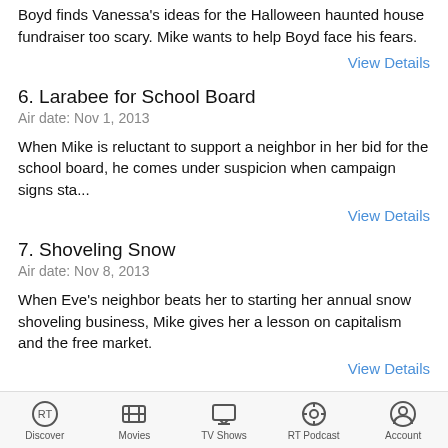Boyd finds Vanessa's ideas for the Halloween haunted house fundraiser too scary. Mike wants to help Boyd face his fears.
View Details
6. Larabee for School Board
Air date: Nov 1, 2013
When Mike is reluctant to support a neighbor in her bid for the school board, he comes under suspicion when campaign signs sta...
View Details
7. Shoveling Snow
Air date: Nov 8, 2013
When Eve's neighbor beats her to starting her annual snow shoveling business, Mike gives her a lesson on capitalism and the free market.
View Details
8. Vanessa Fixes Kyle
Air date: Nov 15, 2013
Discover  Movies  TV Shows  RT Podcast  Account